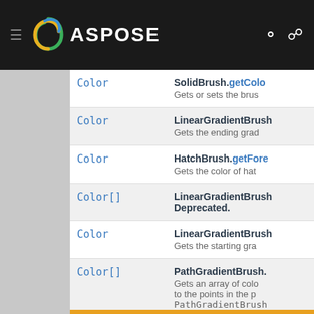ASPOSE
| Type | Method/Description |
| --- | --- |
| Color | SolidBrush.getColor / Gets or sets the brus... |
| Color | LinearGradientBrush... / Gets the ending grad... |
| Color | HatchBrush.getFore... / Gets the color of hat... |
| Color[] | LinearGradientBrush... / Deprecated. |
| Color | LinearGradientBrush... / Gets the starting gra... |
| Color[] | PathGradientBrush.... / Gets an array of colo... to the points in the p... PathGradientBrush... |